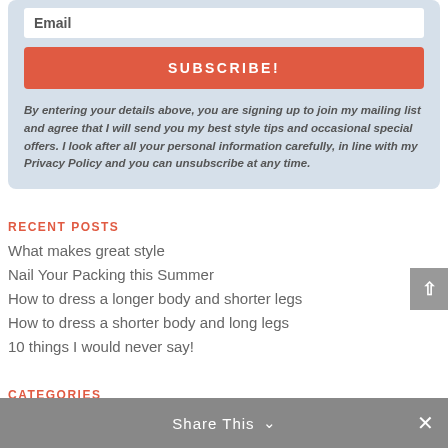Email
SUBSCRIBE!
By entering your details above, you are signing up to join my mailing list and agree that I will send you my best style tips and occasional special offers. I look after all your personal information carefully, in line with my Privacy Policy and you can unsubscribe at any time.
RECENT POSTS
What makes great style
Nail Your Packing this Summer
How to dress a longer body and shorter legs
How to dress a shorter body and long legs
10 things I would never say!
CATEGORIES
Accessorising
Share This